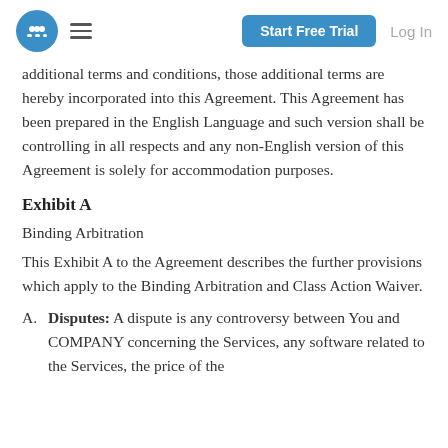Start Free Trial | Log In
additional terms and conditions, those additional terms are hereby incorporated into this Agreement. This Agreement has been prepared in the English Language and such version shall be controlling in all respects and any non-English version of this Agreement is solely for accommodation purposes.
Exhibit A
Binding Arbitration
This Exhibit A to the Agreement describes the further provisions which apply to the Binding Arbitration and Class Action Waiver.
A. Disputes: A dispute is any controversy between You and COMPANY concerning the Services, any software related to the Services, the price of the